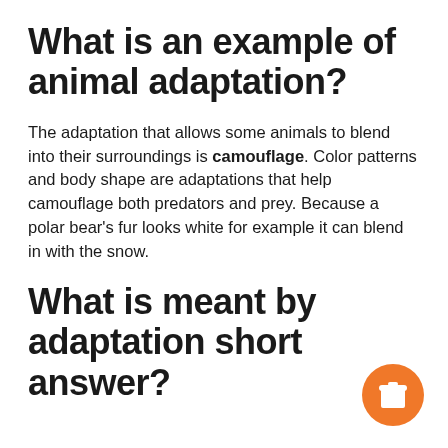What is an example of animal adaptation?
The adaptation that allows some animals to blend into their surroundings is camouflage. Color patterns and body shape are adaptations that help camouflage both predators and prey. Because a polar bear's fur looks white for example it can blend in with the snow.
What is meant by adaptation short answer?
[Figure (illustration): Orange circular button with a white coffee cup icon]